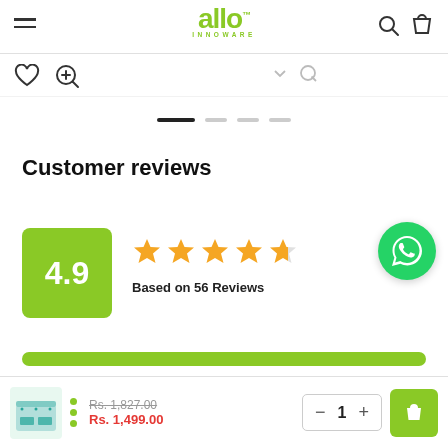allo INNOWARE — navigation header with menu, logo, search, and bag icons
[Figure (screenshot): Heart (wishlist) and zoom/magnify icons below header]
[Figure (other): Image carousel dot indicators — one dark active pill and three grey inactive pills]
Customer reviews
[Figure (other): Green rating box showing 4.9, five gold stars, and text 'Based on 56 Reviews']
[Figure (other): WhatsApp floating button (green circle with phone icon)]
[Figure (other): Green horizontal progress/rating bar]
Product image, Rs. 1,827.00 (strikethrough), Rs. 1,499.00, quantity selector showing 1, add to bag button